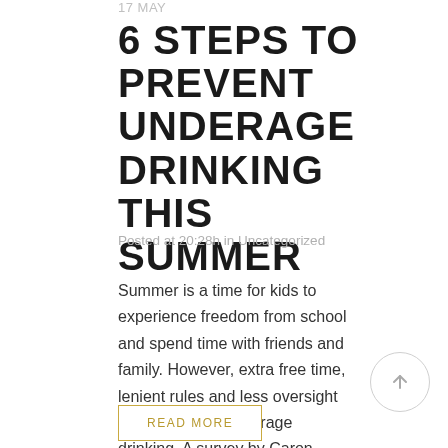17 MAY 6 STEPS TO PREVENT UNDERAGE DRINKING THIS SUMMER
Posted at 20:28h in Uncategorized
Summer is a time for kids to experience freedom from school and spend time with friends and family. However, extra free time, lenient rules and less oversight also increases underage drinking. A survey by Caron Treatment Centers reveals 61 percent identified summer as the season kids...
READ MORE